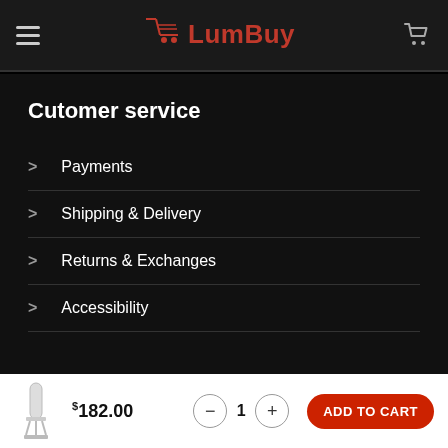LumBuy
Cutomer service
Payments
Shipping & Delivery
Returns & Exchanges
Accessibility
$182.00  -  1  +  ADD TO CART